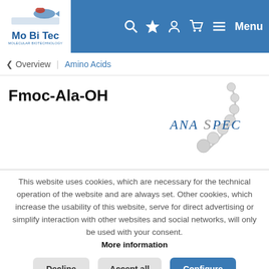Mo Bi Tec — Navigation header with search, favorites, account, cart, and Menu icons
< Overview | Amino Acids
Fmoc-Ala-OH
[Figure (logo): AnaSpec logo — pearl necklace graphic with ANASPEC text in blue and gray]
This website uses cookies, which are necessary for the technical operation of the website and are always set. Other cookies, which increase the usability of this website, serve for direct advertising or simplify interaction with other websites and social networks, will only be used with your consent. More information
Decline | Accept all | Configure